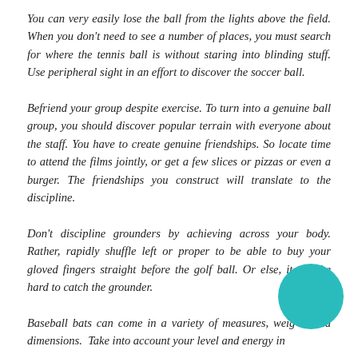You can very easily lose the ball from the lights above the field. When you don't need to see a number of places, you must search for where the tennis ball is without staring into blinding stuff. Use peripheral sight in an effort to discover the soccer ball.
Befriend your group despite exercise. To turn into a genuine ball group, you should discover popular terrain with everyone about the staff. You have to create genuine friendships. So locate time to attend the films jointly, or get a few slices or pizzas or even a burger. The friendships you construct will translate to the discipline.
Don't discipline grounders by achieving across your body. Rather, rapidly shuffle left or proper to be able to buy your gloved fingers straight before the golf ball. Or else, it will be hard to catch the grounder.
Baseball bats can come in a variety of measures, weights and dimensions. Take into account your level and energy in choosing a bat. A longer bat will give you more reach, but a heavier one requires more strength.
[Figure (illustration): A teal/cyan colored circle decorative element in the lower right area of the page]